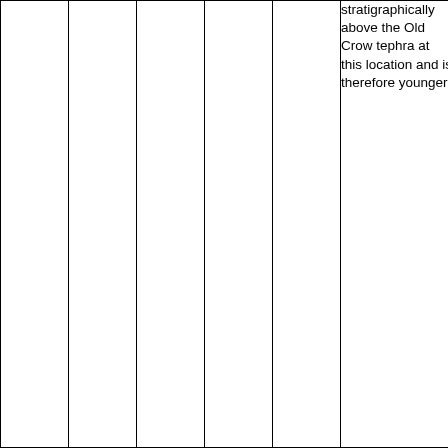|  |  |  |  |  |  |
| --- | --- | --- | --- | --- | --- |
|  |  |  |  |  | stratigraphically above the Old Crow tephra at this location and is therefore younger. |
|  |  |  |  |  |  |
|  |  |  |  |  |  |
|  |  |  |  |  |  |
|  |  |  |  |  |  |